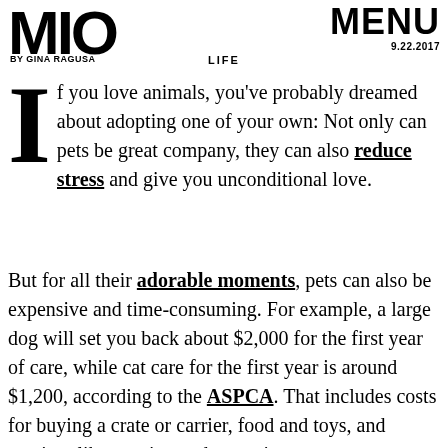MIO | BY GINA RAGUSA | LIFE | MENU 9.22.2017
If you love animals, you've probably dreamed about adopting one of your own: Not only can pets be great company, they can also reduce stress and give you unconditional love.
But for all their adorable moments, pets can also be expensive and time-consuming. For example, a large dog will set you back about $2,000 for the first year of care, while cat care for the first year is around $1,200, according to the ASPCA. That includes costs for buying a crate or carrier, food and toys, and services like spaying and neutering.